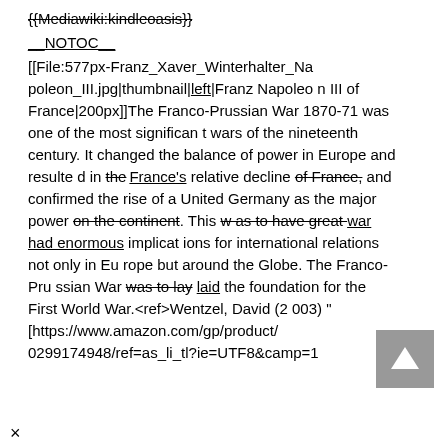{{Mediawiki:kindleoasis}}
__NOTOC__
[[File:577px-Franz_Xaver_Winterhalter_Napoleon_III.jpg|thumbnail|left|Franz Napoleon III of France|200px]]The Franco-Prussian War 1870-71 was one of the most significant wars of the nineteenth century. It changed the balance of power in Europe and resulted in the France's relative decline of France, and confirmed the rise of a United Germany as the major power on the continent. This was to have great war had enormous implications for international relations not only in Europe but around the Globe. The Franco-Prussian War was to lay laid the foundation for the First World War.<ref>Wentzel, David (2003) "[https://www.amazon.com/gp/product/0299174948/ref=as_li_tl?ie=UTF8&camp=1